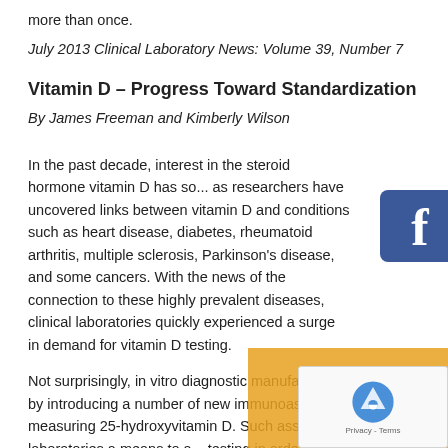more than once.
July 2013 Clinical Laboratory News: Volume 39, Number 7
Vitamin D – Progress Toward Standardization
By James Freeman and Kimberly Wilson
In the past decade, interest in the steroid hormone vitamin D has so... as researchers have uncovered links between vitamin D and conditions such as heart disease, diabetes, rheumatoid arthritis, multiple sclerosis, Parkinson's disease, and some cancers. With the news of the connection to these highly prevalent diseases, clinical laboratories quickly experienced a surge in demand for vitamin D testing.
Not surprisingly, in vitro diagnostic manufacturers responded by introducing a number of new immunoassays for measuring 25-hydroxyvitamin D. Such assays offer laboratories a means to a... testing in order to meet the increased demand. Laboratories also have